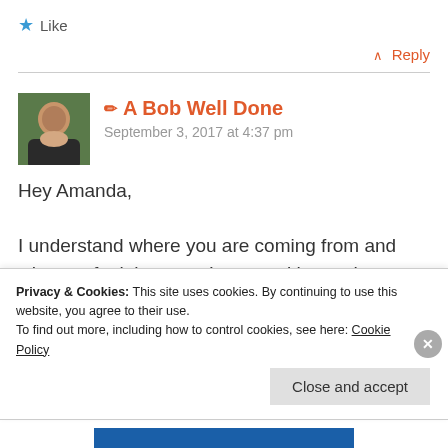★ Like
^ Reply
✏ A Bob Well Done
September 3, 2017 at 4:37 pm
Hey Amanda,

I understand where you are coming from and why you feel that way. I agree with you that
Privacy & Cookies: This site uses cookies. By continuing to use this website, you agree to their use.
To find out more, including how to control cookies, see here: Cookie Policy
Close and accept